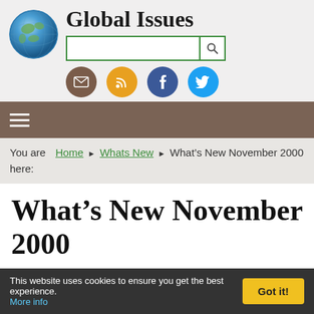Global Issues
[Figure (screenshot): Website header with globe logo, site title 'Global Issues', search bar with green border and search button, and social media icons (email, RSS, Facebook, Twitter)]
You are here: Home > Whats New > What's New November 2000
What's New November 2000
This page lists recent changes made to this site. The "Find Out More" links will take you to the
This website uses cookies to ensure you get the best experience. More info